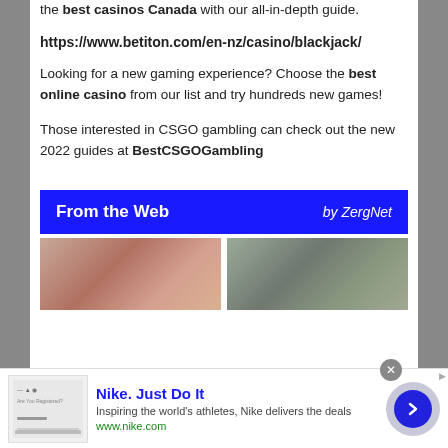the best casinos Canada with our all-in-depth guide.
https://www.betiton.com/en-nz/casino/blackjack/
Looking for a new gaming experience? Choose the best online casino from our list and try hundreds new games!
Those interested in CSGO gambling can check out the new 2022 guides at BestCSGOGambling
[Figure (infographic): Blue ZergNet banner reading 'From the Web' on left and 'by ZergNet' on right, followed by two thumbnail images of people's faces side by side]
[Figure (infographic): Nike advertisement banner at bottom: thumbnail image placeholder on left, 'Nike. Just Do It' title in blue, description text 'Inspiring the world's athletes, Nike delivers the deals', 'www.nike.com' URL in green, blue circle arrow button on right, X close button]